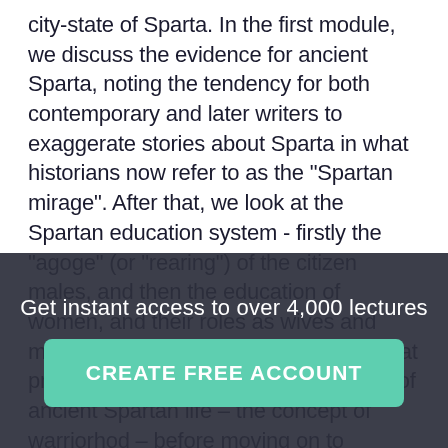city-state of Sparta. In the first module, we discuss the evidence for ancient Sparta, noting the tendency for both contemporary and later writers to exaggerate stories about Sparta in what historians now refer to as the "Spartan mirage". After that, we look at the Spartan education system - firstly the "agoge" (or "rearing") of the citizen males, and then the education of women, and their roles as wives and mothers. In the fourth module, we look at probably the most well-known aspects of ancient Spartan life – the concept of warriorhod – before moving on to consider the other peoples without whom the Spartan system could not have existed – the perioeci and the helots. In the last module, we consider Sparta's legacy in the modern world, including the words "Laconic" and "Spartan" themselves, and the idea of the city-state
Get instant access to over 4,000 lectures
CREATE FREE ACCOUNT